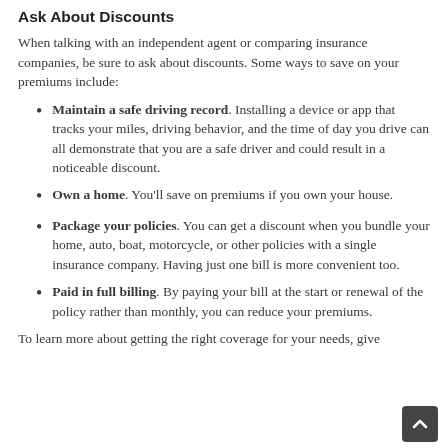Ask About Discounts
When talking with an independent agent or comparing insurance companies, be sure to ask about discounts. Some ways to save on your premiums include:
Maintain a safe driving record. Installing a device or app that tracks your miles, driving behavior, and the time of day you drive can all demonstrate that you are a safe driver and could result in a noticeable discount.
Own a home. You’ll save on premiums if you own your house.
Package your policies. You can get a discount when you bundle your home, auto, boat, motorcycle, or other policies with a single insurance company. Having just one bill is more convenient too.
Paid in full billing. By paying your bill at the start or renewal of the policy rather than monthly, you can reduce your premiums.
To learn more about getting the right coverage for your needs, give